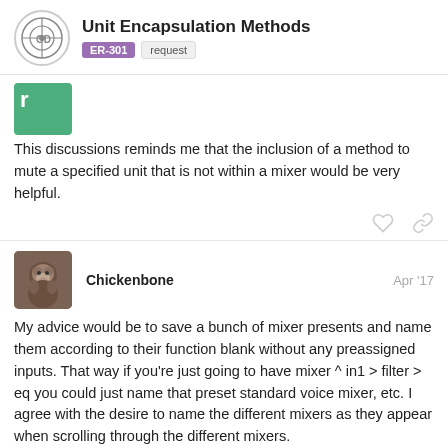Unit Encapsulation Methods | ER-301 | request
[Figure (other): Green avatar with letter F]
This discussions reminds me that the inclusion of a method to mute a specified unit that is not within a mixer would be very helpful.
Chickenbone  Apr '17
[Figure (photo): Monkey profile photo avatar for user Chickenbone]
My advice would be to save a bunch of mixer presents and name them according to their function blank without any preassigned inputs. That way if you're just going to have mixer ^ in1 > filter > eq you could just name that preset standard voice mixer, etc. I agree with the desire to name the different mixers as they appear when scrolling through the different mixers.